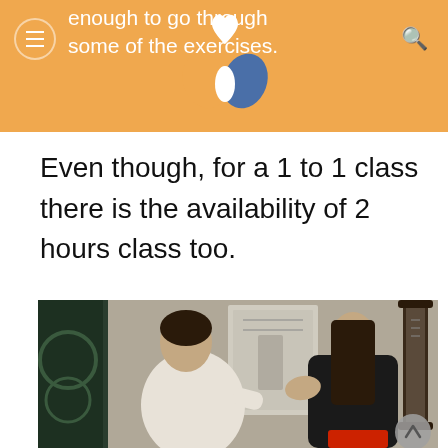enough to go through some of the exercises.
[Figure (logo): Yoga/wellness brand logo: infinity symbol with heart, in orange and blue]
Even though, for a 1 to 1 class there is the availability of 2 hours class too.
[Figure (photo): A yoga instructor in a white t-shirt placing hands on a student's back during a one-to-one session. Anatomical charts visible on the wall in background.]